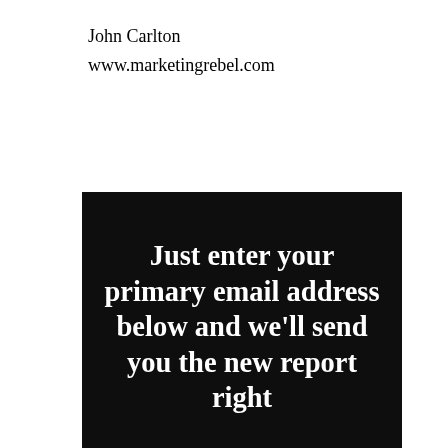John Carlton
www.marketingrebel.com
[Figure (other): Black background box with white bold serif text reading: Just enter your primary email address below and we'll send you the new report right [continues below]]